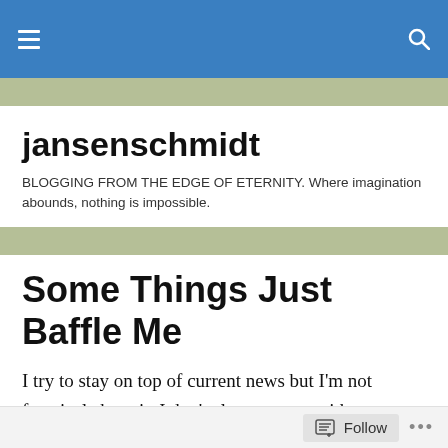jansenschmidt blog header navigation bar
jansenschmidt
BLOGGING FROM THE EDGE OF ETERNITY. Where imagination abounds, nothing is impossible.
Some Things Just Baffle Me
I try to stay on top of current news but I'm not fanatical about it. I don't always agree with mainstream media on either side of certain topics, but I do like to know what's going on and how people feel about it. Some people have some VERY strong feelings about certain issues. That's
Follow ...